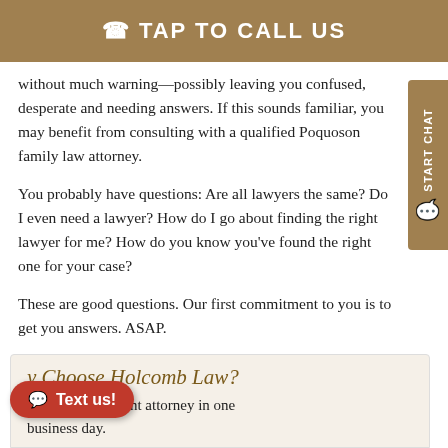TAP TO CALL US
without much warning—possibly leaving you confused, desperate and needing answers. If this sounds familiar, you may benefit from consulting with a qualified Poquoson family law attorney.
You probably have questions: Are all lawyers the same? Do I even need a lawyer? How do I go about finding the right lawyer for me? How do you know you've found the right one for your case?
These are good questions. Our first commitment to you is to get you answers. ASAP.
Why Choose Holcomb Law?
...with a competent attorney in one business day.